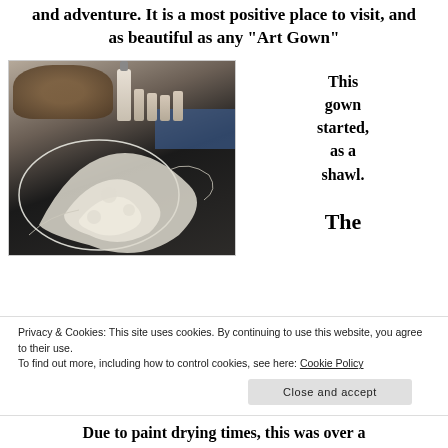and adventure. It is a most positive place to visit, and as beautiful as any “Art Gown”
[Figure (photo): Photo of art supplies including a wicker basket, paint bottles, and a dark fabric with white lace/floral painted design on a table]
This gown started, as a shawl.

The
Privacy & Cookies: This site uses cookies. By continuing to use this website, you agree to their use.
To find out more, including how to control cookies, see here: Cookie Policy
Close and accept
Due to paint drying times, this was over a